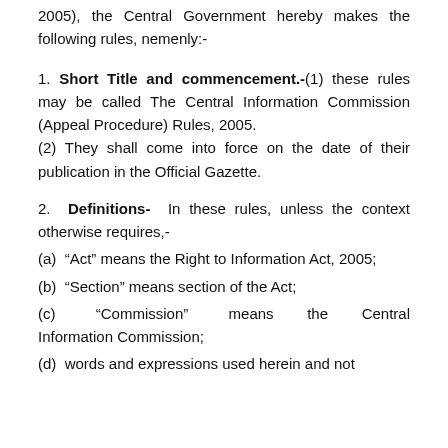2005), the Central Government hereby makes the following rules, nemenly:-
1. Short Title and commencement.-(1) these rules may be called The Central Information Commission (Appeal Procedure) Rules, 2005. (2) They shall come into force on the date of their publication in the Official Gazette.
2. Definitions- In these rules, unless the context otherwise requires,-
(a) “Act” means the Right to Information Act, 2005;
(b) “Section” means section of the Act;
(c) “Commission” means the Central Information Commission;
(d) words and expressions used herein and not